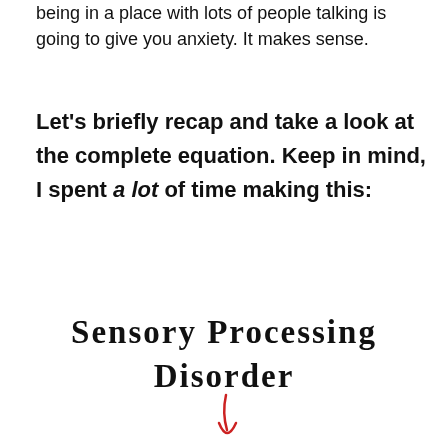being in a place with lots of people talking is going to give you anxiety. It makes sense.
Let's briefly recap and take a look at the complete equation. Keep in mind, I spent a lot of time making this:
[Figure (infographic): Handwritten diagram showing 'Sensory Processing Disorder' in mixed case handwriting with a red hand-drawn arrow pointing downward, and the beginning of text 'Get an unfriendly' partially visible at the bottom.]